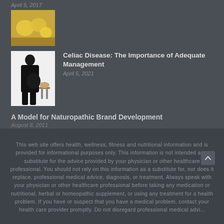April 5, 2017
[Figure (photo): Yellow lemons or similar yellow fruits on a wooden surface]
[Figure (photo): Pregnant woman in black clothing standing next to bread on a stand]
Celiac Disease: The Importance of Adequate Management
April 5, 2021
A Model for Naturopathic Brand Development
August 8, 2011
This web site offers health, wellness, fitness and nutritional information and is provided for informational purposes only. This information is not intended as a substitute for the advice provided by your physician or other healthcare professional. You should not rely on this information as a substitute for, nor does it replace, professional medical advice, diagnosis, or treatment. Always speak with your physician or other healthcare professional before taking any medication or nutritional, herbal or homeopathic supplement, or using any treatment for a health problem. If you have or suspect that you have a medical problem, contact your health care provider promptly. Do not disregard professional medical advi...